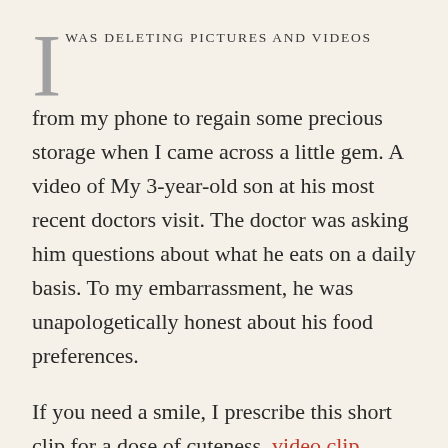I WAS DELETING PICTURES AND VIDEOS from my phone to regain some precious storage when I came across a little gem. A video of My 3-year-old son at his most recent doctors visit. The doctor was asking him questions about what he eats on a daily basis. To my embarrassment, he was unapologetically honest about his food preferences.
If you need a smile, I prescribe this short clip for a dose of cuteness. video clip
As I watched, I remembered his passionate almost visceral reaction to her questions about eating vegetables. I laughed at how certain he was that he